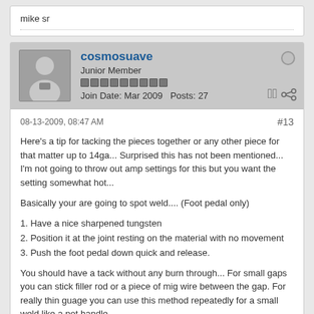mike sr
cosmosuave
Junior Member
Join Date: Mar 2009   Posts: 27
08-13-2009, 08:47 AM
#13
Here's a tip for tacking the pieces together or any other piece for that matter up to 14ga... Surprised this has not been mentioned... I'm not going to throw out amp settings for this but you want the setting somewhat hot...
Basically your are going to spot weld.... (Foot pedal only)
1. Have a nice sharpened tungsten
2. Position it at the joint resting on the material with no movement
3. Push the foot pedal down quick and release.
You should have a tack without any burn through... For small gaps you can stick filler rod or a piece of mig wire between the gap. For really thin guage you can use this method repeatedly for a small weld like a pot handle...